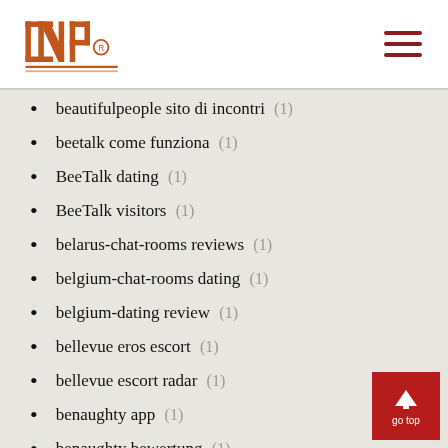INP logo and navigation
beautifulpeople sito di incontri (1)
beetalk come funziona (1)
BeeTalk dating (1)
BeeTalk visitors (1)
belarus-chat-rooms reviews (1)
belgium-chat-rooms dating (1)
belgium-dating review (1)
bellevue eros escort (1)
bellevue escort radar (1)
benaughty app (1)
benaughty bewertung (1)